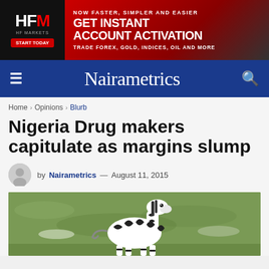[Figure (other): HFM HF Markets advertisement banner. Black left panel with HFM logo and START TODAY button. Red right panel with text: NOW FASTER, SIMPLER AND EASIER / GET INSTANT ACCOUNT ACTIVATION / TRADE FOREX, GOLD, INDICES, OIL AND MORE]
Nairametrics
Home > Opinions > Blurb
Nigeria Drug makers capitulate as margins slump
by Nairametrics — August 11, 2015
[Figure (photo): Photograph of a zebra standing in a green grassy field]